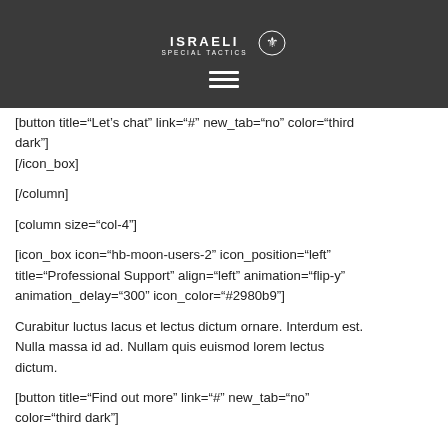ISRAELI SPECIAL TACTICS [logo with hamburger menu]
[button title="Let's chat" link="#" new_tab="no" color="third dark"]
[/icon_box]

[/column]

[column size="col-4"]

[icon_box icon="hb-moon-users-2" icon_position="left" title="Professional Support" align="left" animation="flip-y" animation_delay="300" icon_color="#2980b9"]

Curabitur luctus lacus et lectus dictum ornare. Interdum est. Nulla massa id ad. Nullam quis euismod lorem lectus dictum.

[button title="Find out more" link="#" new_tab="no" color="third dark"]